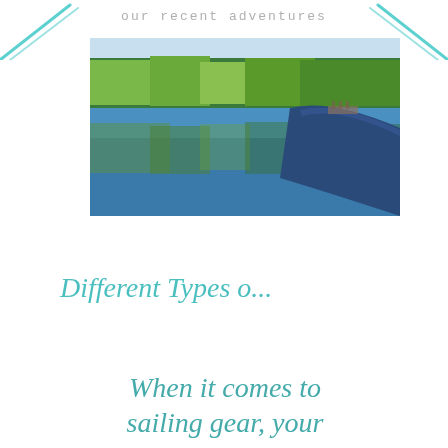our recent adventures
[Figure (photo): A blue canoe on a calm lake with green trees reflected in the still water, dock visible in background]
Different Types o...
When it comes to sailing gear, your